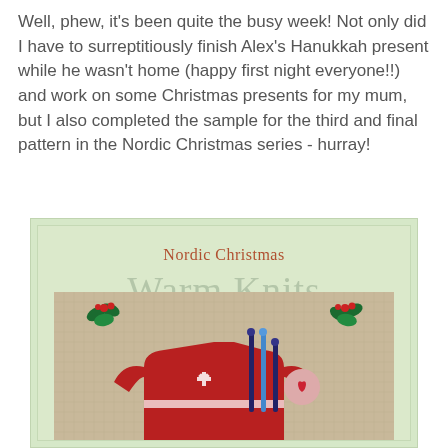Well, phew, it's been quite the busy week! Not only did I have to surreptitiously finish Alex's Hanukkah present while he wasn't home (happy first night everyone!!) and work on some Christmas presents for my mum, but I also completed the sample for the third and final pattern in the Nordic Christmas series - hurray!
[Figure (photo): A cross-stitch pattern cover showing 'Nordic Christmas - Warm Knits' on a light sage green background. The cover has decorative text and a cross-stitch piece showing a red Christmas sweater with Nordic patterns, knitting needles, and holly decorations on a linen-colored fabric.]